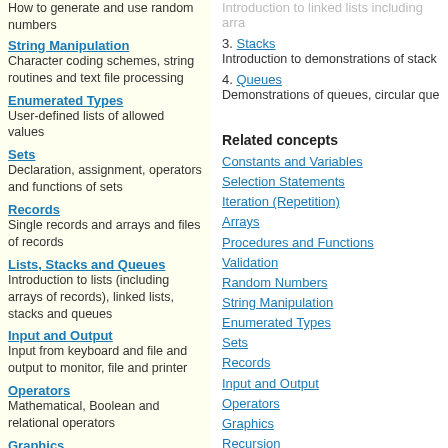How to generate and use random numbers
String Manipulation – Character coding schemes, string routines and text file processing
Enumerated Types – User-defined lists of allowed values
Sets – Declaration, assignment, operators and functions of sets
Records – Single records and arrays and files of records
Lists, Stacks and Queues – Introduction to lists (including arrays of records), linked lists, stacks and queues
Input and Output – Input from keyboard and file and output to monitor, file and printer
Operators – Mathematical, Boolean and relational operators
Graphics – Vector, bitmap and motion
3. Stacks – Introduction to demonstrations of stacks
4. Queues – Demonstrations of queues, circular que
Related concepts
Constants and Variables
Selection Statements
Iteration (Repetition)
Arrays
Procedures and Functions
Validation
Random Numbers
String Manipulation
Enumerated Types
Sets
Records
Input and Output
Operators
Graphics
Recursion
Object-Oriented Pascal
Sorting and Searching
In-line Assembler